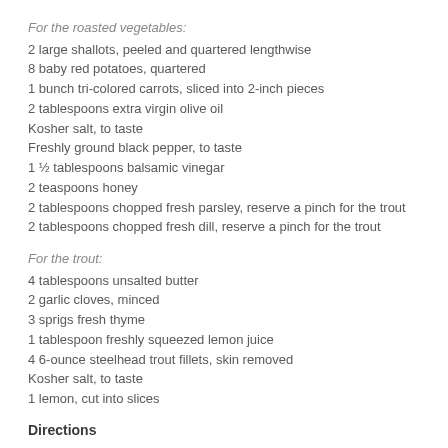For the roasted vegetables:
2 large shallots, peeled and quartered lengthwise
8 baby red potatoes, quartered
1 bunch tri-colored carrots, sliced into 2-inch pieces
2 tablespoons extra virgin olive oil
Kosher salt, to taste
Freshly ground black pepper, to taste
1 ½ tablespoons balsamic vinegar
2 teaspoons honey
2 tablespoons chopped fresh parsley, reserve a pinch for the trout
2 tablespoons chopped fresh dill, reserve a pinch for the trout
For the trout:
4 tablespoons unsalted butter
2 garlic cloves, minced
3 sprigs fresh thyme
1 tablespoon freshly squeezed lemon juice
4 6-ounce steelhead trout fillets, skin removed
Kosher salt, to taste
1 lemon, cut into slices
Directions